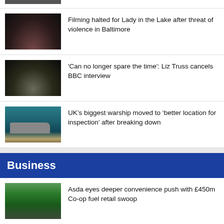[Figure (photo): Partial thumbnail of a person at top of page (cropped)]
Filming halted for Lady in the Lake after threat of violence in Baltimore
'Can no longer spare the time': Liz Truss cancels BBC interview
UK’s biggest warship moved to ‘better location for inspection’ after breaking down
Business
Asda eyes deeper convenience push with £450m Co-op fuel retail swoop